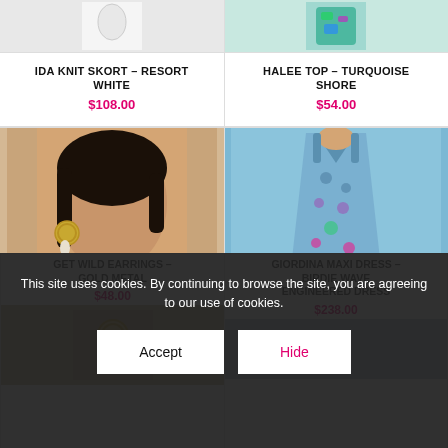[Figure (photo): Top image row: two product photos cropped, left shows white skort garment, right shows colorful patterned top]
IDA KNIT SKORT – RESORT WHITE
$108.00
HALEE TOP – TURQUOISE SHORE
$54.00
[Figure (photo): Model close-up wearing colorful pink and green patterned garment with gold hoop earring]
[Figure (photo): Model wearing blue paisley and floral print maxi dress]
GET WILD EARRINGS – GOLD METAL
$48.00
GIORDINA MAXI DRESS – BIRDIE WAVE ENGINEERED DRESS
$238.00
This site uses cookies. By continuing to browse the site, you are agreeing to our use of cookies.